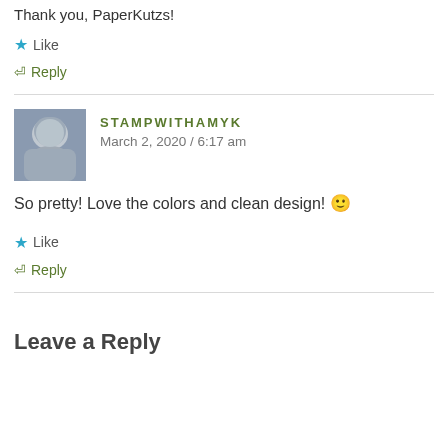Thank you, PaperKutzs!
Like
Reply
STAMPWITHAMYK
March 2, 2020 / 6:17 am
So pretty! Love the colors and clean design! 🙂
Like
Reply
Leave a Reply